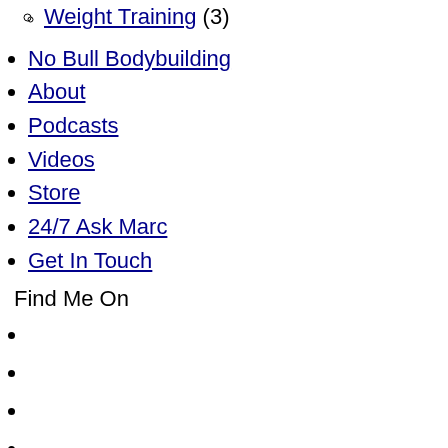Weight Training (3)
No Bull Bodybuilding
About
Podcasts
Videos
Store
24/7 Ask Marc
Get In Touch
Find Me On
Share This Blog
Tweet
Search BodyBuilding Secrets